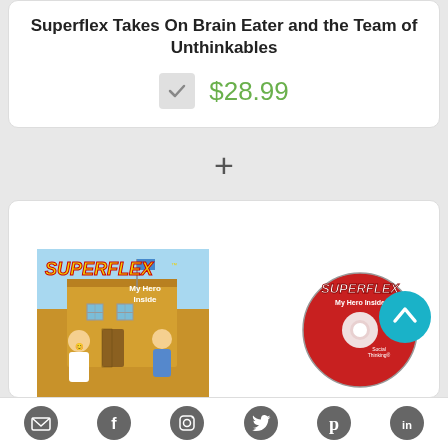Superflex Takes On Brain Eater and the Team of Unthinkables
$28.99
+
[Figure (photo): Superflex My Hero Inside book cover and CD product image showing cartoon characters in front of a school building]
Email | Facebook | Instagram | Twitter | Pinterest | LinkedIn